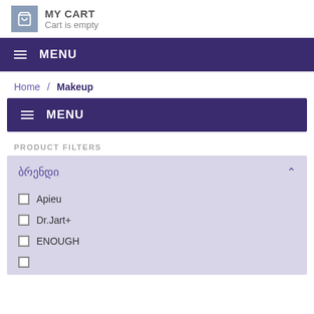MY CART
Cart is empty
MENU
Home / Makeup
MENU
PRODUCT FILTERS
ბრენდი
Apieu
Dr.Jart+
ENOUGH